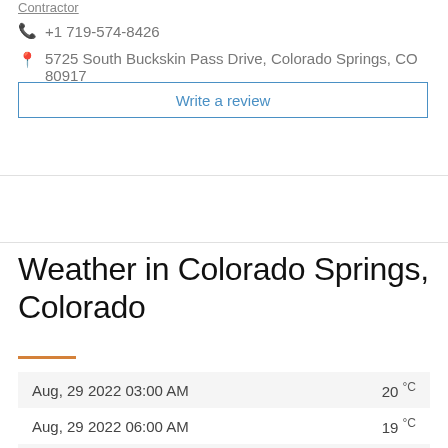Contractor
📞 +1 719-574-8426
📍 5725 South Buckskin Pass Drive, Colorado Springs, CO 80917
Write a review
Weather in Colorado Springs, Colorado
| Date/Time | Temperature |
| --- | --- |
| Aug, 29 2022 03:00 AM | 20 °C |
| Aug, 29 2022 06:00 AM | 19 °C |
| Aug, 29 2022 09:00 AM | 17 °C |